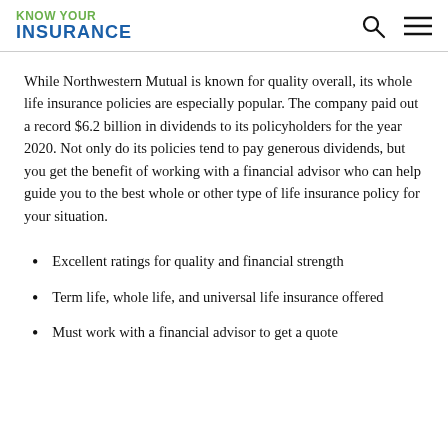KNOW YOUR INSURANCE
While Northwestern Mutual is known for quality overall, its whole life insurance policies are especially popular. The company paid out a record $6.2 billion in dividends to its policyholders for the year 2020. Not only do its policies tend to pay generous dividends, but you get the benefit of working with a financial advisor who can help guide you to the best whole or other type of life insurance policy for your situation.
Excellent ratings for quality and financial strength
Term life, whole life, and universal life insurance offered
Must work with a financial advisor to get a quote